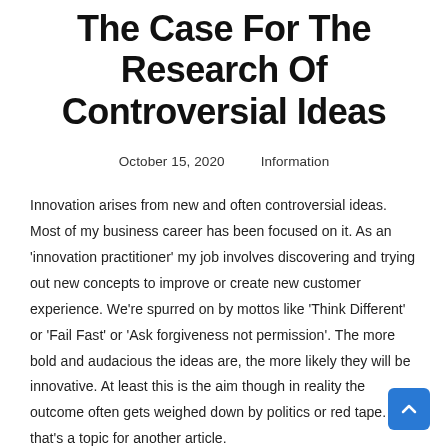The Case For The Research Of Controversial Ideas
October 15, 2020     Information
Innovation arises from new and often controversial ideas. Most of my business career has been focused on it. As an 'innovation practitioner' my job involves discovering and trying out new concepts to improve or create new customer experience. We're spurred on by mottos like 'Think Different' or 'Fail Fast' or 'Ask forgiveness not permission'. The more bold and audacious the ideas are, the more likely they will be innovative. At least this is the aim though in reality the outcome often gets weighed down by politics or red tape. But that's a topic for another article.